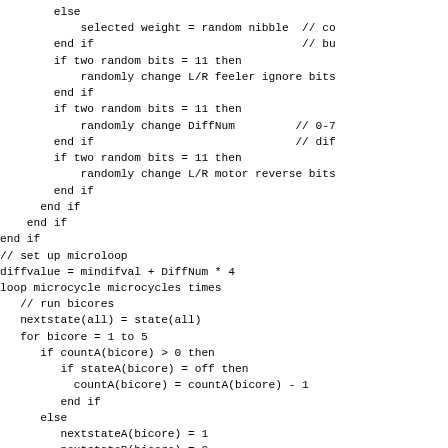else
    selected weight = random nibble  // co
end if                                // bu
if two random bits = 11 then
    randomly change L/R feeler ignore bits
end if
if two random bits = 11 then
    randomly change DiffNum         // 0-7
end if                              // dif
if two random bits = 11 then
    randomly change L/R motor reverse bits
end if
    end if
  end if
end if
// set up microloop
diffvalue = mindifval + DiffNum * 4
loop microcycle microcycles times
  // run bicores
  nextstate(all) = state(all)
  for bicore = 1 to 5
    if countA(bicore) > 0 then
      if stateA(bicore) = off then
        countA(bicore) = countA(bicore) - 1
      end if
    else
      nextstateA(bicore) = 1
      nextstateB(bicore) = 0
      countA(bicore) = baselevel - inputaccA(b
      if bicore = 4 then         // if motor bico